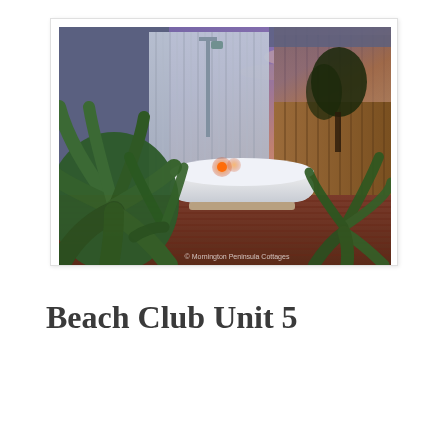[Figure (photo): Outdoor bathroom scene at dusk with a freestanding white bathtub on a wooden deck, surrounded by tropical plants including large agave/aloe plants. A corrugated metal privacy screen with a shower fitting and glowing red candles on the tub edge. A wooden fence and trees are visible in the background with a purple-pink twilight sky. Watermark reads '© Mornington Peninsula Cottages'.]
Beach Club Unit 5